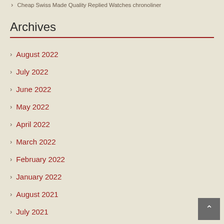Cheap Swiss Made Quality Replied Watches chronoliner
Archives
August 2022
July 2022
June 2022
May 2022
April 2022
March 2022
February 2022
January 2022
August 2021
July 2021
June 2021